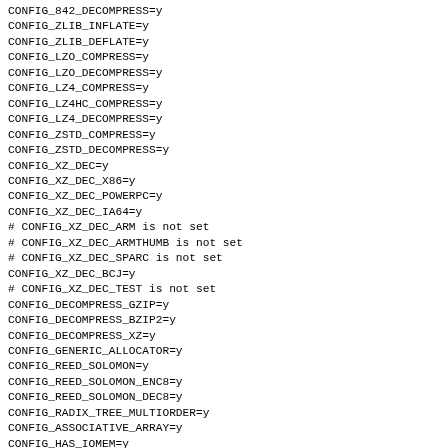CONFIG_842_DECOMPRESS=y
CONFIG_ZLIB_INFLATE=y
CONFIG_ZLIB_DEFLATE=y
CONFIG_LZO_COMPRESS=y
CONFIG_LZO_DECOMPRESS=y
CONFIG_LZ4_COMPRESS=y
CONFIG_LZ4HC_COMPRESS=y
CONFIG_LZ4_DECOMPRESS=y
CONFIG_ZSTD_COMPRESS=y
CONFIG_ZSTD_DECOMPRESS=y
CONFIG_XZ_DEC=y
CONFIG_XZ_DEC_X86=y
CONFIG_XZ_DEC_POWERPC=y
CONFIG_XZ_DEC_IA64=y
# CONFIG_XZ_DEC_ARM is not set
# CONFIG_XZ_DEC_ARMTHUMB is not set
# CONFIG_XZ_DEC_SPARC is not set
CONFIG_XZ_DEC_BCJ=y
# CONFIG_XZ_DEC_TEST is not set
CONFIG_DECOMPRESS_GZIP=y
CONFIG_DECOMPRESS_BZIP2=y
CONFIG_DECOMPRESS_XZ=y
CONFIG_GENERIC_ALLOCATOR=y
CONFIG_REED_SOLOMON=y
CONFIG_REED_SOLOMON_ENC8=y
CONFIG_REED_SOLOMON_DEC8=y
CONFIG_RADIX_TREE_MULTIORDER=y
CONFIG_ASSOCIATIVE_ARRAY=y
CONFIG_HAS_IOMEM=y
CONFIG_HAS_IOPORT_MAP=y
CONFIG_HAS_DMA=y